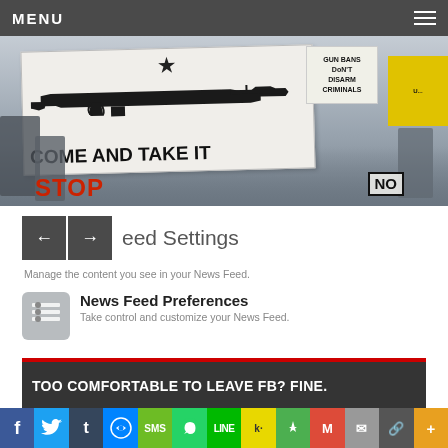MENU
[Figure (photo): Protest/rally photo showing a large white banner with a rifle silhouette and text 'COME AND TAKE IT', a star at top, crowd of people holding signs including 'GUN BANS DON'T DISARM CRIMINALS', partial 'STOP' sign in red, and 'NO' sign.]
Feed Settings
Manage the content you see in your News Feed.
News Feed Preferences
Take control and customize your News Feed.
TOO COMFORTABLE TO LEAVE FB? FINE.
[Figure (infographic): Social sharing bar with icons for Facebook, Twitter, Tumblr, Messenger, SMS, WhatsApp, LINE, Kik, share, Gmail, email, copy, and more buttons]